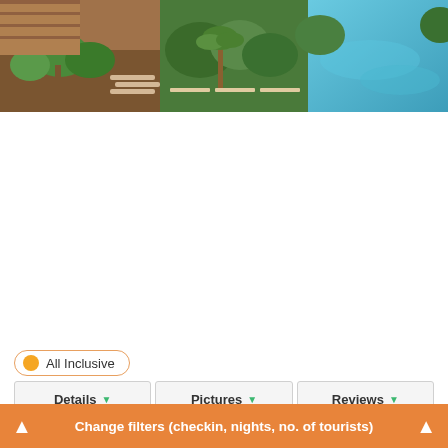[Figure (photo): Aerial/overhead photo of hotel resort with palm trees, beach chairs, and pool/water feature]
All Inclusive
Details ▼   Pictures ▼   Reviews ▼
show offers ▼
Allsun Hotel Esquinzo Beach ★★★★
Playa de Esquinzo, Canary Islands, Spain
show on map
Change filters (checkin, nights, no. of tourists)